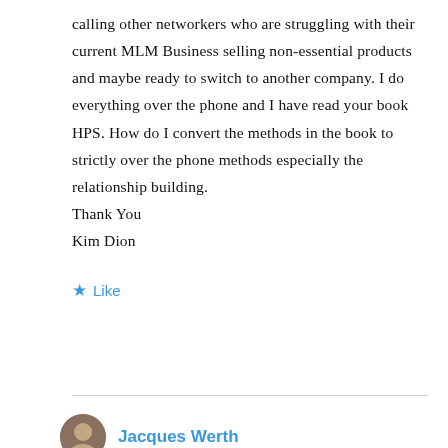calling other networkers who are struggling with their current MLM Business selling non-essential products and maybe ready to switch to another company. I do everything over the phone and I have read your book HPS. How do I convert the methods in the book to strictly over the phone methods especially the relationship building. Thank You
Kim Dion
Like
Reply
Jacques Werth